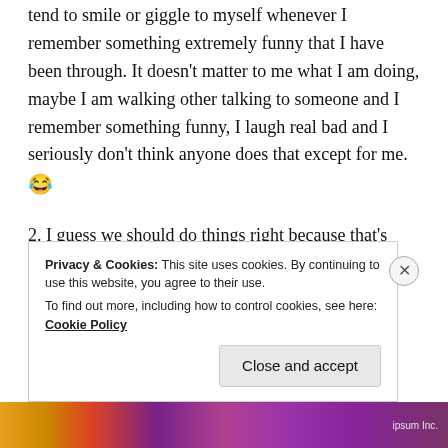tend to smile or giggle to myself whenever I remember something extremely funny that I have been through. It doesn't matter to me what I am doing, maybe I am walking other talking to someone and I remember something funny, I laugh real bad and I seriously don't think anyone does that except for me. 😂
2. I guess we should do things right because that's what makes a difference.
3. I would apologize to my parents, both of them
Privacy & Cookies: This site uses cookies. By continuing to use this website, you agree to their use.
To find out more, including how to control cookies, see here: Cookie Policy
Close and accept
ipsum Inc.